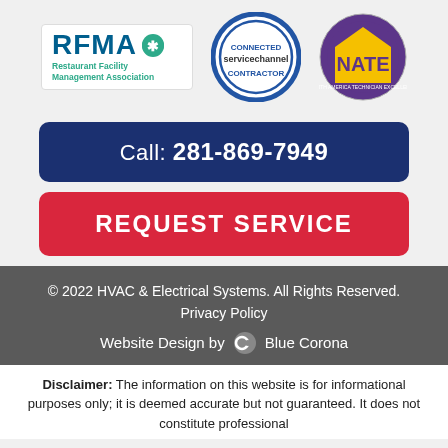[Figure (logo): Three logos in a row: RFMA (Restaurant Facility Management Association), ServiceChannel Connected Contractor badge, and NATE certification logo]
Call: 281-869-7949
REQUEST SERVICE
© 2022 HVAC & Electrical Systems. All Rights Reserved.
Privacy Policy
Website Design by Blue Corona
Disclaimer: The information on this website is for informational purposes only; it is deemed accurate but not guaranteed. It does not constitute professional